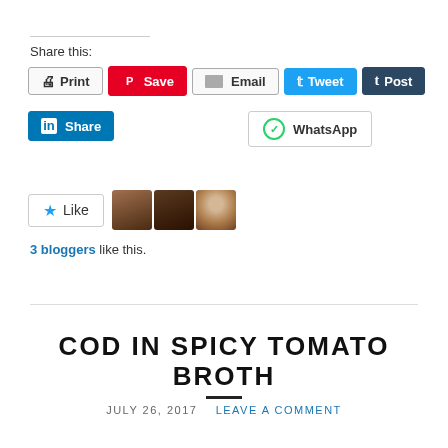Share this:
[Figure (screenshot): Row of social sharing buttons: Print, Save (Pinterest), Email, Tweet, Post (Tumblr)]
[Figure (screenshot): Second row of sharing buttons: LinkedIn Share, WhatsApp]
[Figure (screenshot): Like button with star icon and 3 blogger avatars]
3 bloggers like this.
COD IN SPICY TOMATO BROTH
JULY 26, 2017   LEAVE A COMMENT